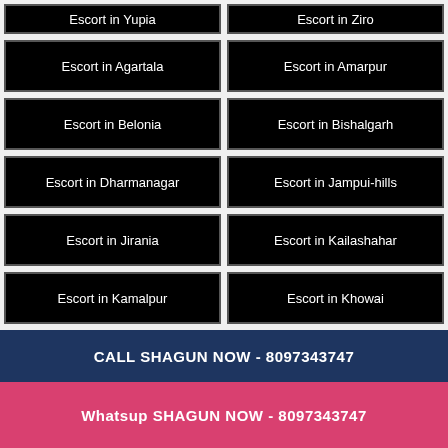Escort in Yupia
Escort in Ziro
Escort in Agartala
Escort in Amarpur
Escort in Belonia
Escort in Bishalgarh
Escort in Dharmanagar
Escort in Jampui-hills
Escort in Jirania
Escort in Kailashahar
Escort in Kamalpur
Escort in Khowai
CALL SHAGUN NOW - 8097343747
Whatsup SHAGUN NOW - 8097343747